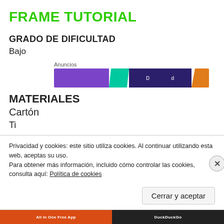FRAME TUTORIAL
GRADO DE DIFICULTAD
Bajo
[Figure (other): Advertisement banner with purple, teal, dark blue, and orange segments]
MATERIALES
Cartón
Ti
Privacidad y cookies: este sitio utiliza cookies. Al continuar utilizando esta web, aceptas su uso.
Para obtener más información, incluido cómo controlar las cookies, consulta aquí: Política de cookies
Cerrar y aceptar
[Figure (other): Bottom advertisement bar with orange left side (All in One Free App) and dark right side (DuckDuckGo)]